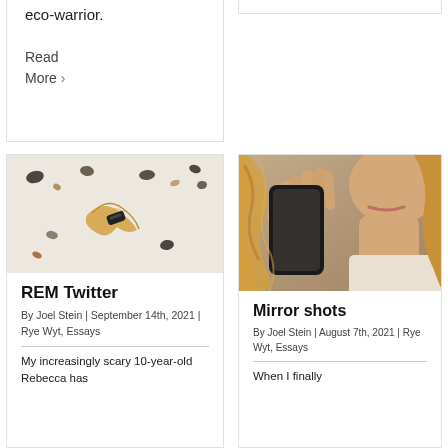eco-warrior.
Read More ›
[Figure (photo): Flat-lay of scattered rocks, seeds, a hair clump with a dark clip, on a white surface]
REM Twitter
By Joel Stein | September 14th, 2021 | Rye Wyt, Essays
My increasingly scary 10-year-old Rebecca has
[Figure (photo): Close-up selfie of a person with long wavy blonde hair holding a phone up to a mirror, face partially cropped]
Mirror shots
By Joel Stein | August 7th, 2021 | Rye Wyt, Essays
When I finally